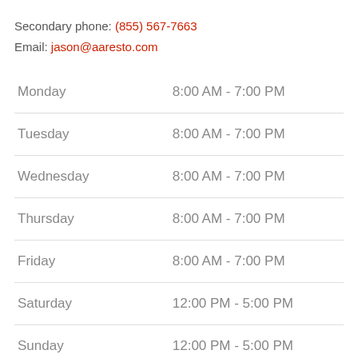Secondary phone: (855) 567-7663
Email: jason@aaresto.com
| Day | Hours |
| --- | --- |
| Monday | 8:00 AM - 7:00 PM |
| Tuesday | 8:00 AM - 7:00 PM |
| Wednesday | 8:00 AM - 7:00 PM |
| Thursday | 8:00 AM - 7:00 PM |
| Friday | 8:00 AM - 7:00 PM |
| Saturday | 12:00 PM - 5:00 PM |
| Sunday | 12:00 PM - 5:00 PM |